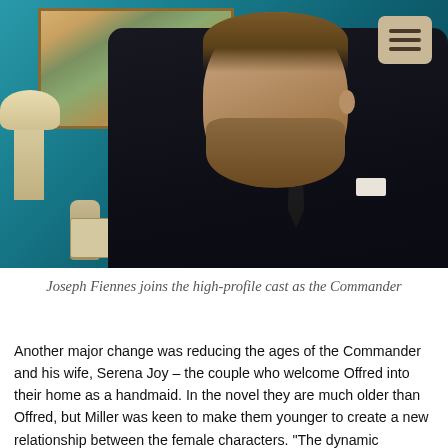[Figure (photo): Joseph Fiennes as the Commander, a man in a dark suit with a beard, standing in a teal-walled room with a painting and lamp visible in the background. A menu icon appears in the top right corner.]
Joseph Fiennes joins the high-profile cast as the Commander
Another major change was reducing the ages of the Commander and his wife, Serena Joy – the couple who welcome Offred into their home as a handmaid. In the novel they are much older than Offred, but Miller was keen to make them younger to create a new relationship between the female characters. "The dynamic between Serena Joy and Offred is so central that I wanted to make them more direct competitors. What happens to Serena Joy's identity when